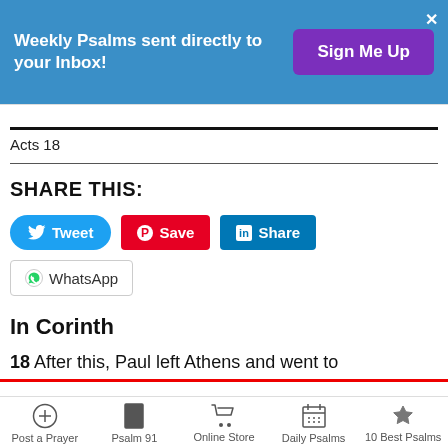[Figure (screenshot): Blue promotional banner: 'Weekly Psalms sent directly to your Inbox!' with purple 'Sign Me Up' button and X close button]
Acts 18
SHARE THIS:
[Figure (infographic): Social sharing buttons: Tweet (blue), Save (red Pinterest), Share (LinkedIn blue), WhatsApp (outlined)]
In Corinth
18 After this, Paul left Athens and went to
Post a Prayer | Psalm 91 | Online Store | Daily Psalms | 10 Best Psalms